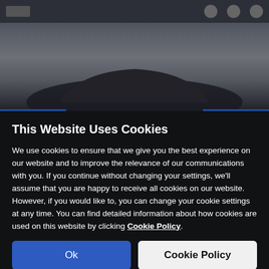[Figure (screenshot): Blurred website background with dark navigation bar at top and car silhouette visible, with blue accent strips at bottom of background area]
This Website Uses Cookies
We use cookies to ensure that we give you the best experience on our website and to improve the relevance of our communications with you. If you continue without changing your settings, we'll assume that you are happy to receive all cookies on our website. However, if you would like to, you can change your cookie settings at any time. You can find detailed information about how cookies are used on this website by clicking Cookie Policy.
Ok
Cookie Policy